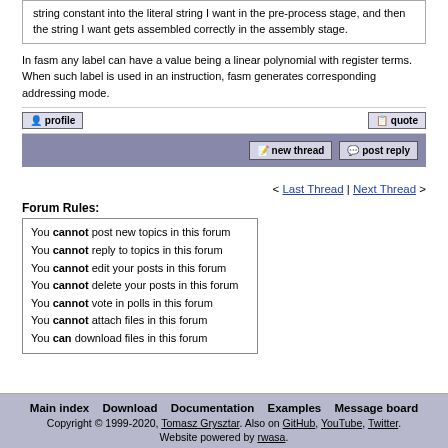string constant into the literal string I want in the pre-process stage, and then the string I want gets assembled correctly in the assembly stage.
In fasm any label can have a value being a linear polynomial with register terms. When such label is used in an instruction, fasm generates corresponding addressing mode.
< Last Thread | Next Thread >
Forum Rules:
You cannot post new topics in this forum
You cannot reply to topics in this forum
You cannot edit your posts in this forum
You cannot delete your posts in this forum
You cannot vote in polls in this forum
You cannot attach files in this forum
You can download files in this forum
Main index  Download  Documentation  Examples  Message board
Copyright © 1999-2020, Tomasz Grysztar. Also on GitHub, YouTube, Twitter.
Website powered by rwasa.